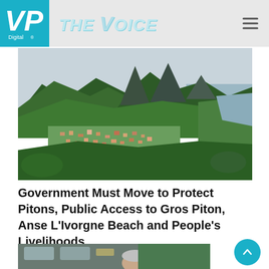VP Digital THE VOICE
[Figure (photo): Aerial view of a coastal town nestled among lush green mountains with twin volcanic Piton peaks rising dramatically in the background, overlooking the Caribbean Sea in St. Lucia.]
Government Must Move to Protect Pitons, Public Access to Gros Piton, Anse L'Ivorgne Beach and People's Livelihoods
[Figure (photo): Partial view of a person (head visible) behind what appears to be a bus or vehicle window, with equipment visible.]